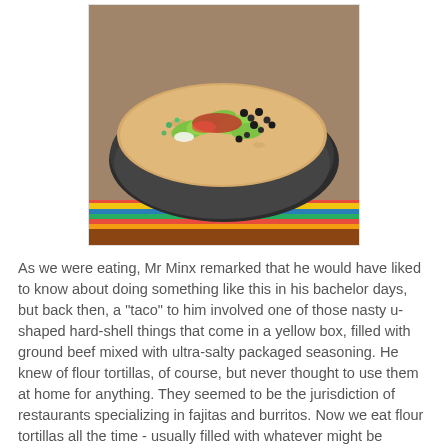[Figure (photo): A flour tortilla topped with sliced avocado, black beans, salsa, and other toppings, served on a dark round plate atop a colorful striped placemat.]
As we were eating, Mr Minx remarked that he would have liked to know about doing something like this in his bachelor days, but back then, a "taco" to him involved one of those nasty u-shaped hard-shell things that come in a yellow box, filled with ground beef mixed with ultra-salty packaged seasoning. He knew of flour tortillas, of course, but never thought to use them at home for anything. They seemed to be the jurisdiction of restaurants specializing in fajitas and burritos. Now we eat flour tortillas all the time - usually filled with whatever might be hanging around in the fridge.
Long have I toyed with the idea of writing a cookbook on